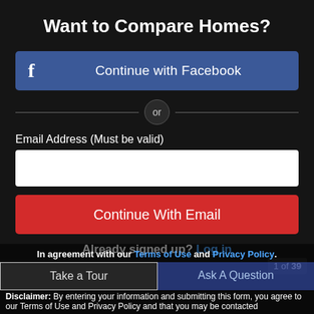Want to Compare Homes?
Continue with Facebook
or
Email Address (Must be valid)
Continue With Email
Already signed up? Log in
1 of 39
In agreement with our Terms of Use and Privacy Policy.
Take a Tour
Ask A Question
Disclaimer: By entering your information and submitting this form, you agree to our Terms of Use and Privacy Policy and that you may be contacted